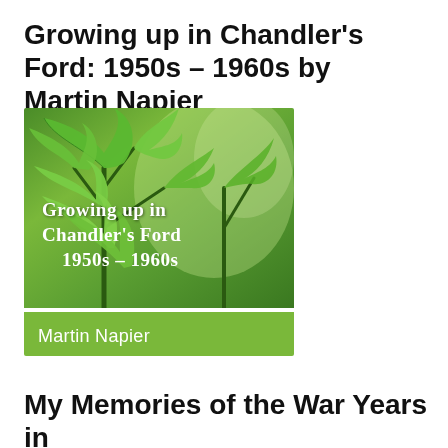Growing up in Chandler's Ford: 1950s – 1960s by Martin Napier
[Figure (illustration): Book cover showing green plant leaves with white handwritten-style text reading 'Growing up in Chandler's Ford 1950s – 1960s' and a green footer bar with 'Martin Napier' in white]
My Memories of the War Years in Chandler's Ford 1939 – 1945 by